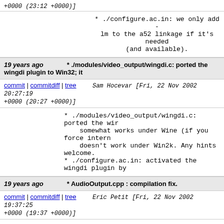+0000 (23:12 +0000)]
* ./configure.ac.in: we only add -lm to the a52 linkage if it's needed (and available).
19 years ago   * ./modules/video_output/wingdi.c: ported the wingdi plugin to Win32; it
commit | commitdiff | tree   Sam Hocevar [Fri, 22 Nov 2002 20:27:19 +0000 (20:27 +0000)]
* ./modules/video_output/wingdi.c: ported the win... somewhat works under Wine (if you force intern... doesn't work under Win2k. Any hints welcome. * ./configure.ac.in: activated the wingdi plugin by
19 years ago   * AudioOutput.cpp : compilation fix.
commit | commitdiff | tree   Eric Petit [Fri, 22 Nov 2002 19:37:25 +0000 (19:37 +0000)]
* AudioOutput.cpp : compilation fix.
* VideoOutput.cpp : now --fullscreen works with BeOS video output.
19 years ago   * ./modules/access/mms/var_buffer.h: this file is now a separate .c to